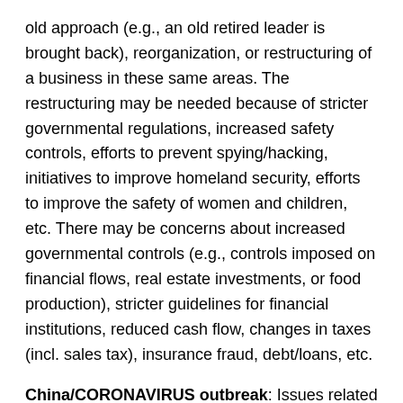old approach (e.g., an old retired leader is brought back), reorganization, or restructuring of a business in these same areas. The restructuring may be needed because of stricter governmental regulations, increased safety controls, efforts to prevent spying/hacking, initiatives to improve homeland security, efforts to improve the safety of women and children, etc. There may be concerns about increased governmental controls (e.g., controls imposed on financial flows, real estate investments, or food production), stricter guidelines for financial institutions, reduced cash flow, changes in taxes (incl. sales tax), insurance fraud, debt/loans, etc.
China/CORONAVIRUS outbreak: Issues related to the viral illness outbreak will likely persist throughout the entire year. There may be escalations or some sort of increased activities around Mar 9 – 27 (esp. Mar 17-22), Jul 6 – 24,